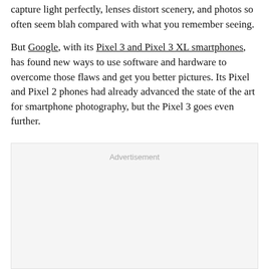capture light perfectly, lenses distort scenery, and photos so often seem blah compared with what you remember seeing.
But Google, with its Pixel 3 and Pixel 3 XL smartphones, has found new ways to use software and hardware to overcome those flaws and get you better pictures. Its Pixel and Pixel 2 phones had already advanced the state of the art for smartphone photography, but the Pixel 3 goes even further.
[Figure (other): Advertisement placeholder box with light gray background]